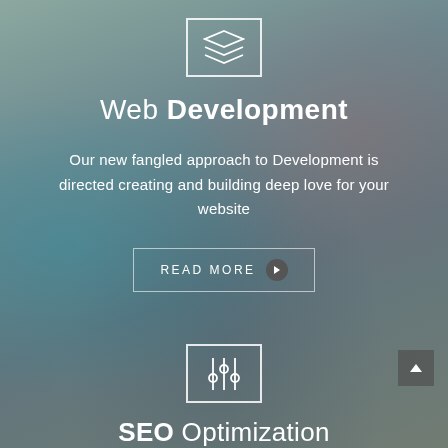[Figure (illustration): Blurred background photo of art/craft supplies on a desk with teal and red objects, overlaid with a semi-transparent color gradient]
[Figure (illustration): White outlined square icon containing a stacked layers symbol (three overlapping trapezoid shapes)]
Web Development
Our new fangled approach to Development is directed creating and building deep love for your website
READ MORE
[Figure (illustration): White outlined square icon containing a slider/equalizer controls symbol (three vertical sliders with handles)]
SEO Optimization